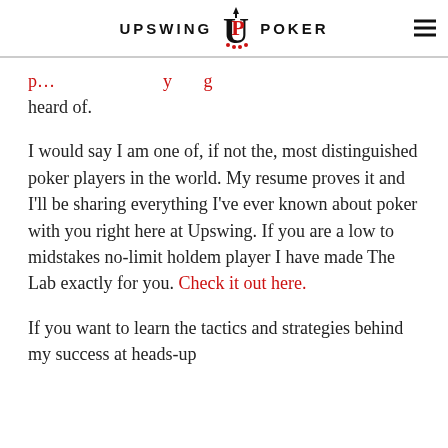UPSWING POKER
heard of.
I would say I am one of, if not the, most distinguished poker players in the world. My resume proves it and I'll be sharing everything I've ever known about poker with you right here at Upswing. If you are a low to midstakes no-limit holdem player I have made The Lab exactly for you. Check it out here.
If you want to learn the tactics and strategies behind my success at heads-up